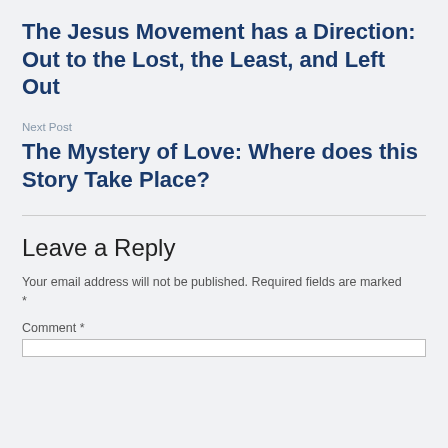The Jesus Movement has a Direction: Out to the Lost, the Least, and Left Out
Next Post
The Mystery of Love: Where does this Story Take Place?
Leave a Reply
Your email address will not be published. Required fields are marked *
Comment *